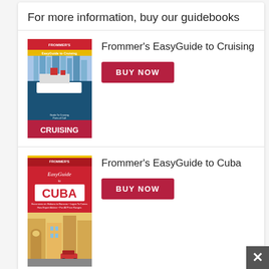For more information, buy our guidebooks
[Figure (illustration): Book cover: Frommer's EasyGuide to Cruising — red and white cover with cruise ship and city skyline]
Frommer's EasyGuide to Cruising
BUY NOW
[Figure (illustration): Book cover: Frommer's EasyGuide to Cuba — red cover with Cuba text and colorful street scene]
Frommer's EasyGuide to Cuba
BUY NOW
[Figure (illustration): Book cover: Frommer's EasyGuide to Puerto Rico — red cover with Puerto Rico text]
Frommer's EasyGuide to Puerto Rico
BUY NOW